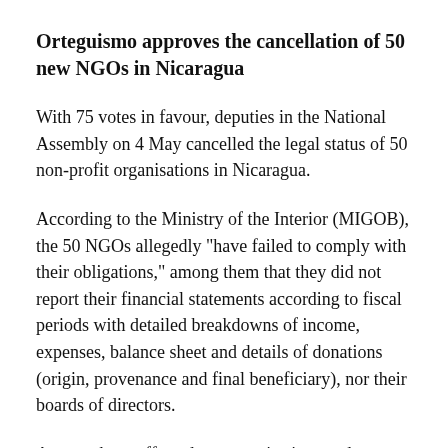Orteguismo approves the cancellation of 50 new NGOs in Nicaragua
With 75 votes in favour, deputies in the National Assembly on 4 May cancelled the legal status of 50 non-profit organisations in Nicaragua.
According to the Ministry of the Interior (MIGOB), the 50 NGOs allegedly "have failed to comply with their obligations," among them that they did not report their financial statements according to fiscal periods with detailed breakdowns of income, expenses, balance sheet and details of donations (origin, provenance and final beneficiary), nor their boards of directors.
Among those affected are organisations and foundations that advocate for the defence of human